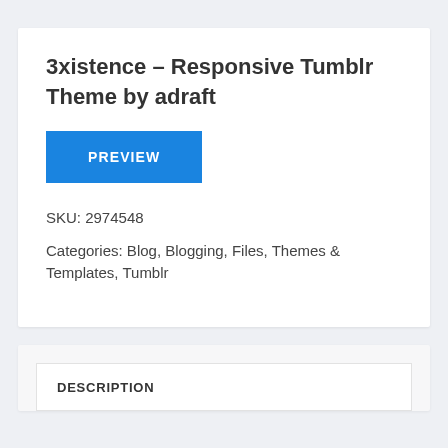3xistence – Responsive Tumblr Theme by adraft
PREVIEW
SKU: 2974548
Categories: Blog, Blogging, Files, Themes & Templates, Tumblr
DESCRIPTION